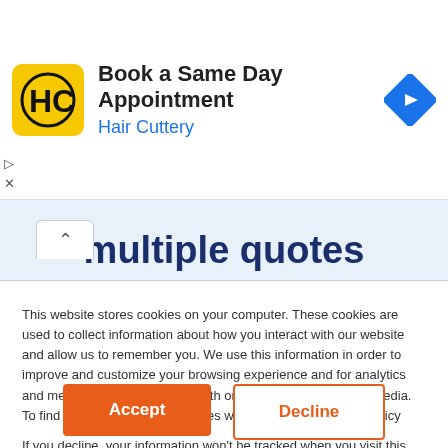[Figure (screenshot): Hair Cuttery ad banner: yellow square logo with HC initials, headline 'Book a Same Day Appointment', subtitle 'Hair Cuttery', blue navigation diamond icon, play and close ad controls]
multiple quotes
This website stores cookies on your computer. These cookies are used to collect information about how you interact with our website and allow us to remember you. We use this information in order to improve and customize your browsing experience and for analytics and metrics about our visitors both on this website and other media. To find out more about the cookies we use, see our Privacy Policy
If you decline, your information won't be tracked when you visit this website. A single cookie will be used in your browser to remember your preference not to be tracked.